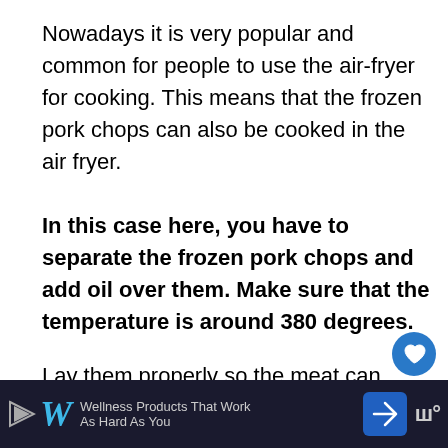Nowadays it is very popular and common for people to use the air-fryer for cooking. This means that the frozen pork chops can also be cooked in the air fryer.
In this case here, you have to separate the frozen pork chops and add oil over them. Make sure that the temperature is around 380 degrees.
Lay them properly so the meat can be coo. well. Leave them in the air fryer to cook for al
[Figure (screenshot): Advertisement bar at the bottom showing Walgreens ad: 'Wellness Products That Work As Hard As You' with a blue navigation arrow icon and a W icon on the right.]